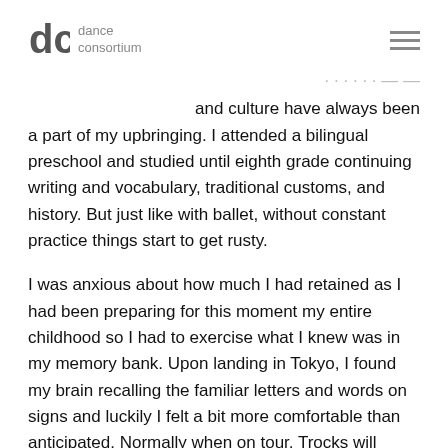dance consortium
and culture have always been a part of my upbringing. I attended a bilingual preschool and studied until eighth grade continuing writing and vocabulary, traditional customs, and history. But just like with ballet, without constant practice things start to get rusty.
I was anxious about how much I had retained as I had been preparing for this moment my entire childhood so I had to exercise what I knew was in my memory bank. Upon landing in Tokyo, I found my brain recalling the familiar letters and words on signs and luckily I felt a bit more comfortable than anticipated. Normally when on tour, Trocks will travel around with a fellow company member (usually from the